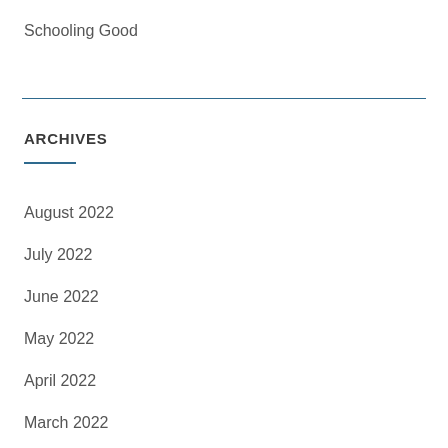Schooling Good
ARCHIVES
August 2022
July 2022
June 2022
May 2022
April 2022
March 2022
February 2022